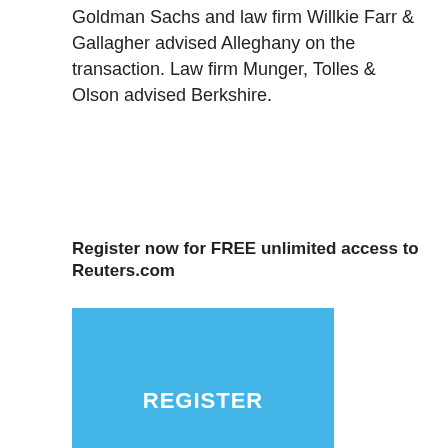Goldman Sachs and law firm Willkie Farr & Gallagher advised Alleghany on the transaction. Law firm Munger, Tolles & Olson advised Berkshire.
Register now for FREE unlimited access to Reuters.com
[Figure (other): Blue register button with white text 'REGISTER']
Reporting by Noor Zainab Hussain in Bengaluru and Jonathan Stempel in New York Additional reporting by Mehnaz Yasmin in Bengaluru Editing by Saumyadeb Chakrabarty and Mark Potter
Our Standards: The Thomson Reuters Trust Principles.